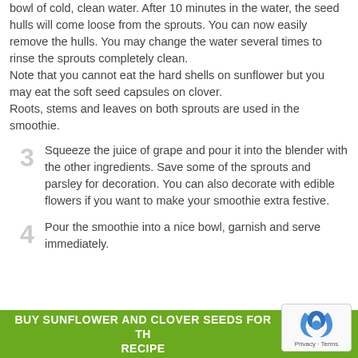bowl of cold, clean water. After 10 minutes in the water, the seed hulls will come loose from the sprouts. You can now easily remove the hulls. You may change the water several times to rinse the sprouts completely clean. Note that you cannot eat the hard shells on sunflower but you may eat the soft seed capsules on clover. Roots, stems and leaves on both sprouts are used in the smoothie.
3  Squeeze the juice of grape and pour it into the blender with the other ingredients. Save some of the sprouts and parsley for decoration. You can also decorate with edible flowers if you want to make your smoothie extra festive.
4  Pour the smoothie into a nice bowl, garnish and serve immediately.
BUY SUNFLOWER AND CLOVER SEEDS FOR THIS RECIPE